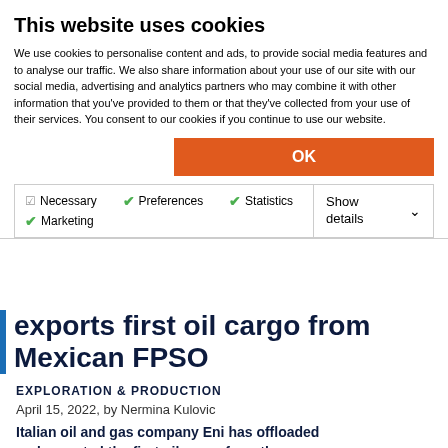This website uses cookies
We use cookies to personalise content and ads, to provide social media features and to analyse our traffic. We also share information about your use of our site with our social media, advertising and analytics partners who may combine it with other information that you've provided to them or that they've collected from your use of their services. You consent to our cookies if you continue to use our website.
OK
Necessary  Preferences  Statistics  Marketing  Show details
Eni offloads and exports first oil cargo from Mexican FPSO
EXPLORATION & PRODUCTION
April 15, 2022, by Nermina Kulovic
Italian oil and gas company Eni has offloaded and exported the first oil cargo from the